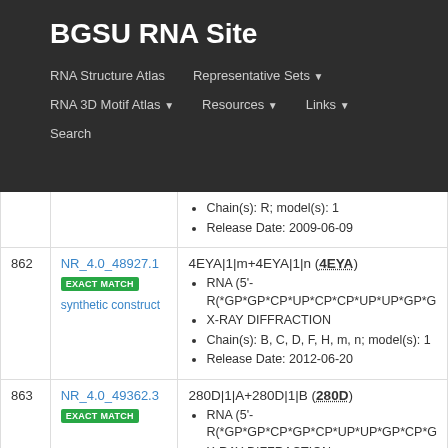BGSU RNA Site
RNA Structure Atlas | Representative Sets | RNA 3D Motif Atlas | Resources | Links | Search
| # | ID | Details |
| --- | --- | --- |
|  |  | Chain(s): R; model(s): 1
Release Date: 2009-06-09 |
| 862 | NR_4.0_48927.1 EXACT MATCH synthetic construct | 4EYA|1|m+4EYA|1|n (4EYA)
RNA (5'- R(*GP*GP*CP*UP*CP*CP*UP*UP*GP*G
X-RAY DIFFRACTION
Chain(s): B, C, D, F, H, m, n; model(s): 1
Release Date: 2012-06-20 |
| 863 | NR_4.0_49362.3 EXACT MATCH | 280D|1|A+280D|1|B (280D)
RNA (5'- R(*GP*GP*CP*GP*CP*UP*UP*GP*CP*G
X-RAY DIFFRACTION
Chain(s): A, B, C, D, F, H; model(s): 1 |